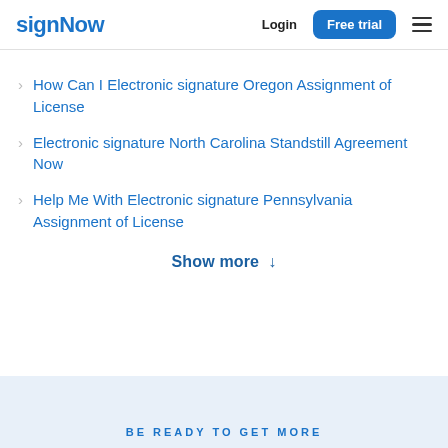signNow | Login | Free trial
How Can I Electronic signature Oregon Assignment of License
Electronic signature North Carolina Standstill Agreement Now
Help Me With Electronic signature Pennsylvania Assignment of License
Show more ↓
BE READY TO GET MORE